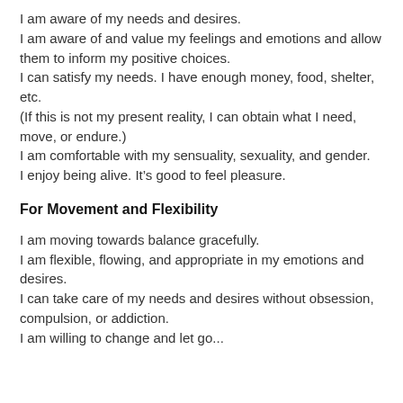I am aware of my needs and desires.
I am aware of and value my feelings and emotions and allow them to inform my positive choices.
I can satisfy my needs. I have enough money, food, shelter, etc.
(If this is not my present reality, I can obtain what I need, move, or endure.)
I am comfortable with my sensuality, sexuality, and gender.
I enjoy being alive. It’s good to feel pleasure.
For Movement and Flexibility
I am moving towards balance gracefully.
I am flexible, flowing, and appropriate in my emotions and desires.
I can take care of my needs and desires without obsession, compulsion, or addiction.
I am willing to change and let go...